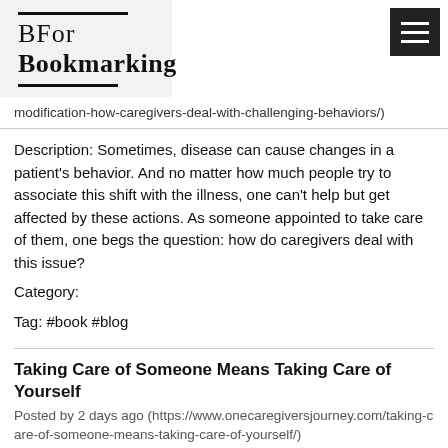[Figure (logo): BFor Bookmarking logo with horizontal lines above and below, on light gray background, and hamburger menu icon in dark box on the right]
modification-how-caregivers-deal-with-challenging-behaviors/)
Description: Sometimes, disease can cause changes in a patient's behavior. And no matter how much people try to associate this shift with the illness, one can't help but get affected by these actions. As someone appointed to take care of them, one begs the question: how do caregivers deal with this issue?
Category:
Tag: #book #blog
Taking Care of Someone Means Taking Care of Yourself
Posted by 2 days ago (https://www.onecaregiversjourney.com/taking-care-of-someone-means-taking-care-of-yourself/)
Description: Caregivers find gratification in providing care and